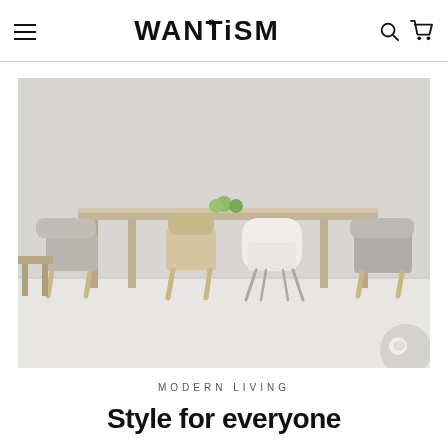WANTISM
[Figure (photo): Modern dining room scene with a light wood rectangular dining table surrounded by various contemporary chairs including a white molded plastic chair, upholstered grey chairs, and wooden chairs. A bowl of green apples sits on the table. Light grey background wall, white floor.]
MODERN LIVING
Style for everyone